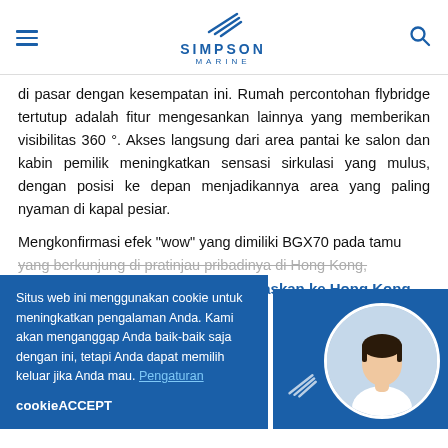Simpson Marine
di pasar dengan kesempatan ini. Rumah percontohan flybridge tertutup adalah fitur mengesankan lainnya yang memberikan visibilitas 360°. Akses langsung dari area pantai ke salon dan kabin pemilik meningkatkan sensasi sirkulasi yang mulus, dengan posisi ke depan menjadikannya area yang paling nyaman di kapal pesiar.
Mengkonfirmasi efek "wow" yang dimiliki BGX70 pada tamu yang berkunjung di pratinjau pribadinya di Hong Kong,
Blue game telah BGX... telah ditugaskan ke Hong Kong
Situs web ini menggunakan cookie untuk meningkatkan pengalaman Anda. Kami akan menganggap Anda baik-baik saja dengan ini, tetapi Anda dapat memilih keluar jika Anda mau. Pengaturan cookieACCEPT
[Figure (logo): Simpson Marine logo with wave symbol above text SIMPSON MARINE in blue]